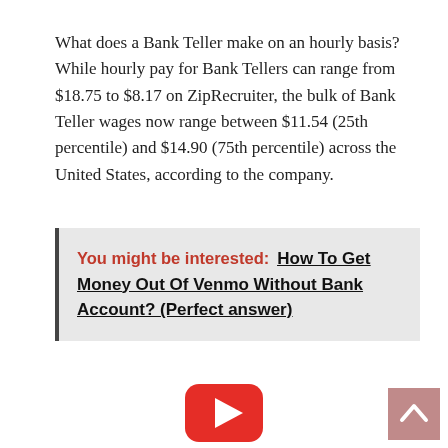What does a Bank Teller make on an hourly basis? While hourly pay for Bank Tellers can range from $18.75 to $8.17 on ZipRecruiter, the bulk of Bank Teller wages now range between $11.54 (25th percentile) and $14.90 (75th percentile) across the United States, according to the company.
You might be interested:  How To Get Money Out Of Venmo Without Bank Account? (Perfect answer)
[Figure (other): YouTube play button icon (red rounded rectangle with white triangle)]
[Figure (other): Back-to-top button (pink/mauve square with upward arrow)]